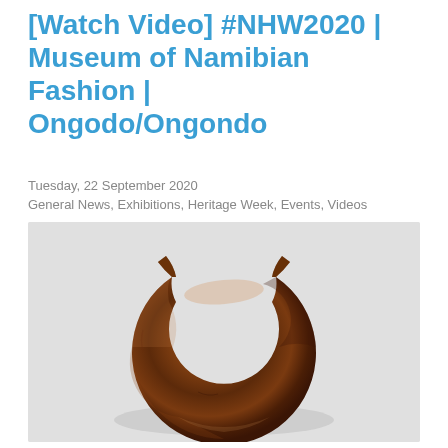[Watch Video] #NHW2020 | Museum of Namibian Fashion | Ongodo/Ongondo
Tuesday, 22 September 2020
General News, Exhibitions, Heritage Week, Events, Videos
[Figure (photo): A C-shaped dark brown metal bracelet (ongodo/ongondo) photographed against a light grey background. The bracelet is thick, rounded, and open at the top, with squared ends.]